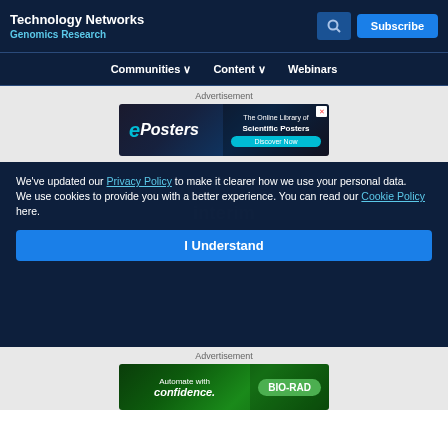Technology Networks
Genomics Research
Communities   Content   Webinars
Advertisement
[Figure (screenshot): ePosters advertisement banner - The Online Library of Scientific Posters, Discover Now]
Advertisement
Technology Networks
We've updated our Privacy Policy to make it clearer how we use your personal data.
We use cookies to provide you with a better experience. You can read our Cookie Policy here.
I Understand
About Us
Contact Us
[Figure (screenshot): Bio-Rad advertisement banner - Automate with confidence.]